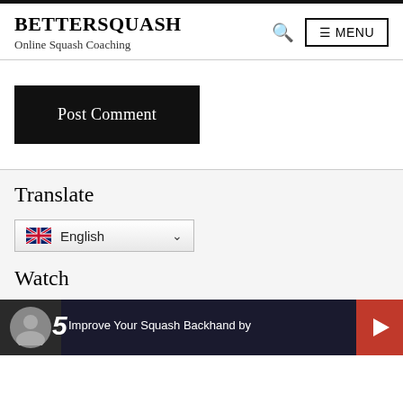BETTERSQUASH — Online Squash Coaching
[Figure (screenshot): Post Comment button — black rectangle with white serif text]
Translate
[Figure (screenshot): Language selector dropdown showing UK flag and English with chevron]
Watch
[Figure (screenshot): Video thumbnail for Improve Your Squash Backhand with play button]